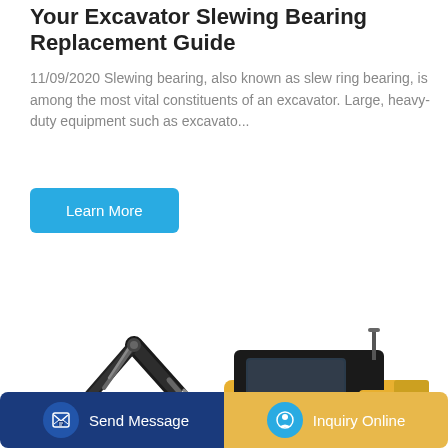Your Excavator Slewing Bearing Replacement Guide
11/09/2020 Slewing bearing, also known as slew ring bearing, is among the most vital constituents of an excavator. Large, heavy-duty equipment such as excavato...
Learn More
[Figure (photo): Hyundai HX55e mini excavator with yellow and black color scheme, showing boom arm, cab, and tracks on white background]
Send Message | Inquiry Online